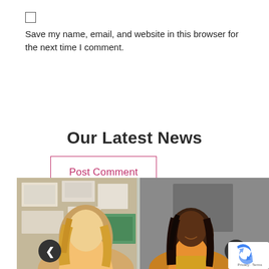Save my name, email, and website in this browser for the next time I comment.
Post Comment
Our Latest News
[Figure (photo): Two women in an office or classroom setting; one with blonde hair facing away, one with dark hair smiling, with bulletin boards in the background.]